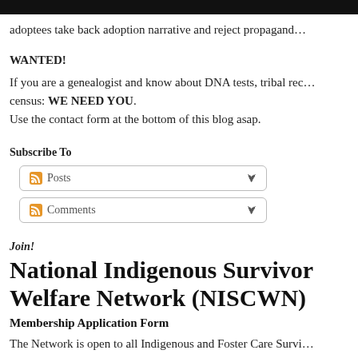[Figure (other): Black header bar at top of page]
adoptees take back adoption narrative and reject propagand…
WANTED!
If you are a genealogist and know about DNA tests, tribal rec… census: WE NEED YOU.
Use the contact form at the bottom of this blog asap.
Subscribe To
[Figure (screenshot): RSS Posts dropdown widget]
[Figure (screenshot): RSS Comments dropdown widget]
Join!
National Indigenous Survivor Welfare Network (NISCWN)
Membership Application Form
The Network is open to all Indigenous and Foster Care Survi…